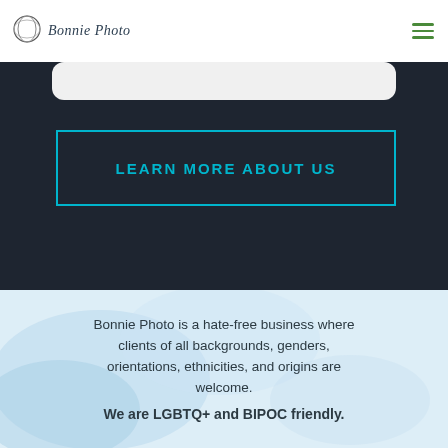Bonnie Photo
[Figure (logo): Bonnie Photo logo with overlapping circles and script text]
LEARN MORE ABOUT US
Bonnie Photo is a hate-free business where clients of all backgrounds, genders, orientations, ethnicities, and origins are welcome. We are LGBTQ+ and BIPOC friendly.